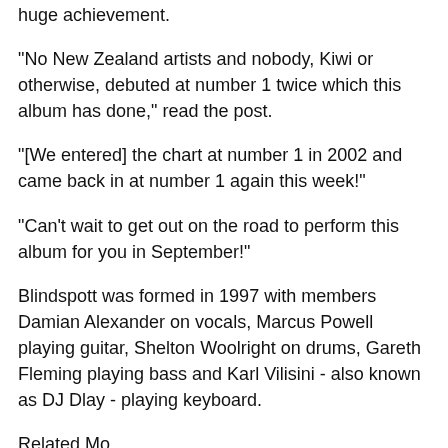huge achievement.
"No New Zealand artists and nobody, Kiwi or otherwise, debuted at number 1 twice which this album has done," read the post.
"[We entered] the chart at number 1 in 2002 and came back in at number 1 again this week!"
"Can’t wait to get out on the road to perform this album for you in September!"
Blindspott was formed in 1997 with members Damian Alexander on vocals, Marcus Powell playing guitar, Shelton Woolright on drums, Gareth Fleming playing bass and Karl Vilisini - also known as DJ Dlay - playing keyboard.
Related Mo...